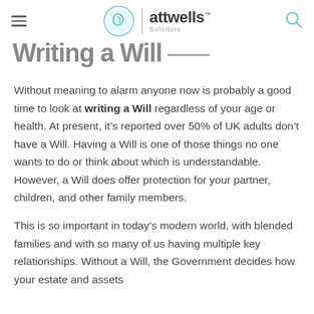attwells Solicitors
Writing a Will
Without meaning to alarm anyone now is probably a good time to look at writing a Will regardless of your age or health. At present, it’s reported over 50% of UK adults don’t have a Will. Having a Will is one of those things no one wants to do or think about which is understandable. However, a Will does offer protection for your partner, children, and other family members.
This is so important in today’s modern world, with blended families and with so many of us having multiple key relationships. Without a Will, the Government decides how your estate and assets